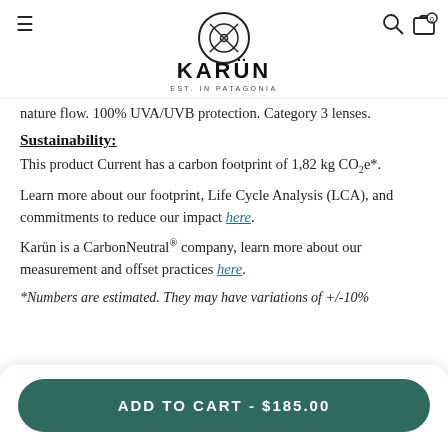KARÜN EST. IN PATAGONIA
nature flow. 100% UVA/UVB protection. Category 3 lenses.
Sustainability:
This product Current has a carbon footprint of 1,82 kg CO2e*.
Learn more about our footprint, Life Cycle Analysis (LCA), and commitments to reduce our impact here.
Karün is a CarbonNeutral® company, learn more about our measurement and offset practices here.
*Numbers are estimated. They may have variations of +/-10%
ADD TO CART - $185.00